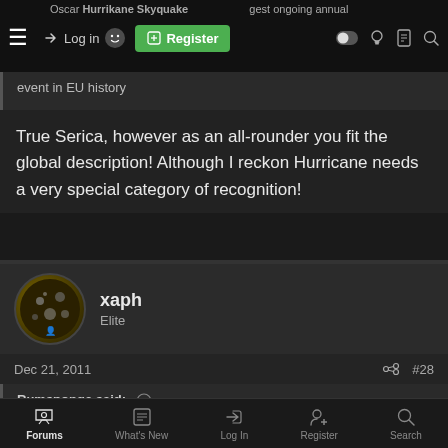Oscar Hurrikane Skyquake …gest ongoing annual event in EU history
True Serica, however as an all-rounder you fit the global description! Although I reckon Hurricane needs a very special category of recognition!
xaph
Elite
Dec 21, 2011   #28
Rumsponge said: ⊕
Hi, Xaph. Actually, I think I fit better on Butch's list. 😀
Forums   What's New   Log In   Register   Search